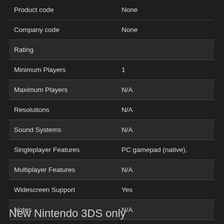| Field | Value |
| --- | --- |
| Product code | None |
| Company code | None |
| Rating |  |
| Minimum Players | 1 |
| Maximum Players | N/A |
| Resolutions | N/A |
| Sound Systems | N/A |
| Singleplayer Features | PC gamepad (native), |
| Multiplayer Features | N/A |
| Widescreen Support | Yes |
| Notes | N/A |
New Nintendo 3DS only